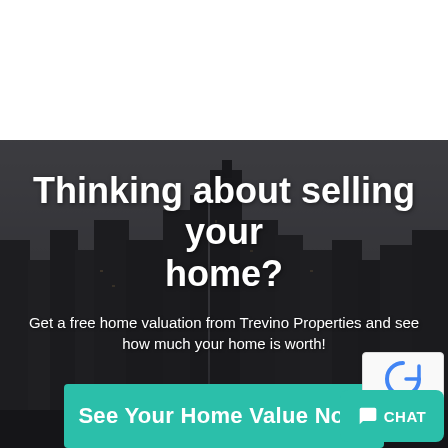[Figure (photo): Dark monochrome cityscape with tall skyscrapers against a grey sky, used as background hero image]
Thinking about selling your home?
Get a free home valuation from Trevino Properties and see how much your home is worth!
See Your Home Value Now!
CHAT